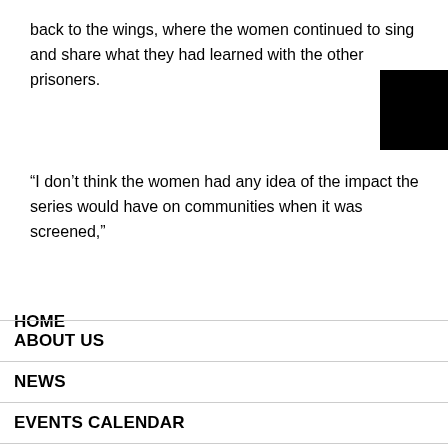back to the wings, where the women continued to sing and share what they had learned with the other prisoners.
“I don’t think the women had any idea of the impact the series would have on communities when it was screened,”
HOME
ABOUT US
NEWS
EVENTS CALENDAR
BLOGS & ARTICLES
FELLOWSHIPS
AWARDS
NEWSLETTERS